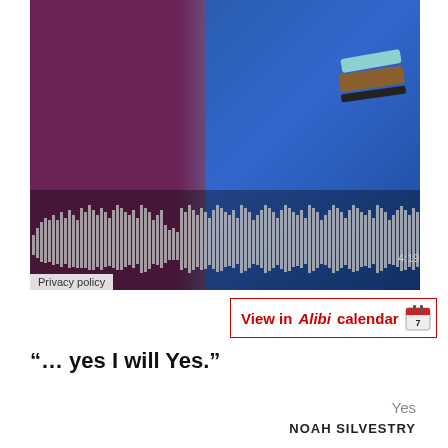[Figure (photo): Photo of two women standing close together, one in a burgundy/purple dress and one in a blue dress. A hand with bracelets (teal, brown, black) is visible. An audio waveform player overlay is displayed at the bottom of the image showing a 4:19 timestamp.]
Privacy policy
View in Alibi calendar
“… yes I will Yes.”
Yes
NOAH SILVESTRY